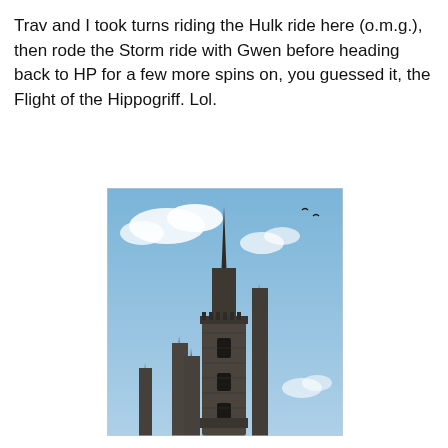Trav and I took turns riding the Hulk ride here (o.m.g.), then rode the Storm ride with Gwen before heading back to HP for a few more spins on, you guessed it, the Flight of the Hippogriff. Lol.
[Figure (photo): A photograph looking upward at a dark stone gothic castle with tall spires against a partly cloudy blue sky. The tallest central spire dominates the frame, with smaller towers visible to the left. The style resembles Hogwarts castle from the Wizarding World theme park.]